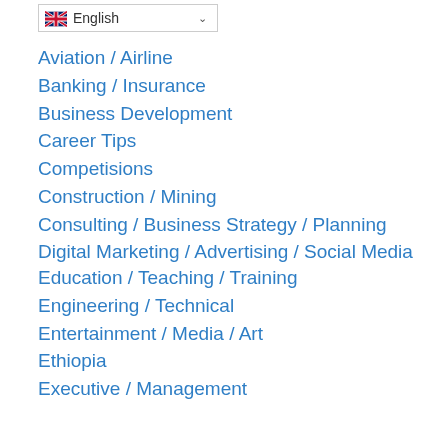English
Aviation / Airline
Banking / Insurance
Business Development
Career Tips
Competisions
Construction / Mining
Consulting / Business Strategy / Planning
Digital Marketing / Advertising / Social Media
Education / Teaching / Training
Engineering / Technical
Entertainment / Media / Art
Ethiopia
Executive / Management